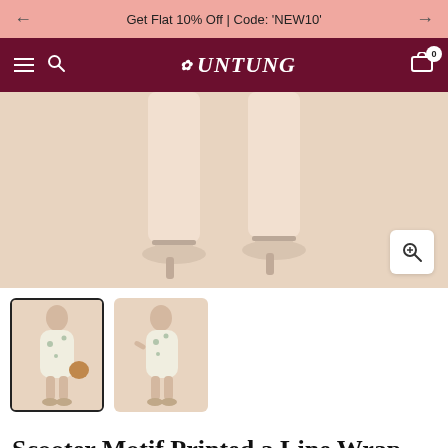Get Flat 10% Off | Code: 'NEW10'
[Figure (screenshot): E-commerce website navbar with dark maroon background showing hamburger menu, search icon, UNTUNG logo, and cart icon with 0 badge]
[Figure (photo): Main product image showing the lower half of a person wearing a floral wrap dress with white heeled sandals on a beige background]
[Figure (photo): Thumbnail 1 - selected - full body photo of woman in Scooter Motif Printed a Line Wrap Dress on beige background]
[Figure (photo): Thumbnail 2 - full body photo of woman in Scooter Motif Printed a Line Wrap Dress on beige background, slightly different pose]
Scooter Motif Printed a Line Wrap Dress